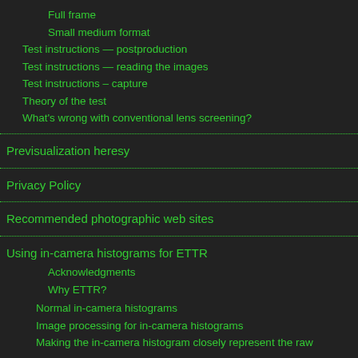Full frame
Small medium format
Test instructions — postproduction
Test instructions — reading the images
Test instructions – capture
Theory of the test
What's wrong with conventional lens screening?
Previsualization heresy
Privacy Policy
Recommended photographic web sites
Using in-camera histograms for ETTR
Acknowledgments
Why ETTR?
Normal in-camera histograms
Image processing for in-camera histograms
Making the in-camera histogram closely represent the raw